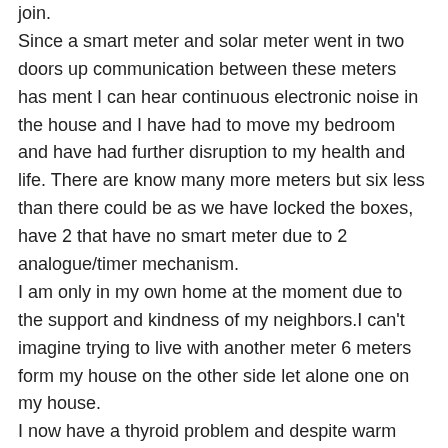join. Since a smart meter and solar meter went in two doors up communication between these meters has ment I can hear continuous electronic noise in the house and I have had to move my bedroom and have had further disruption to my health and life. There are know many more meters but six less than there could be as we have locked the boxes, have 2 that have no smart meter due to 2 analogue/timer mechanism. I am only in my own home at the moment due to the support and kindness of my neighbors.I can't imagine trying to live with another meter 6 meters form my house on the other side let alone one on my house. I now have a thyroid problem and despite warm